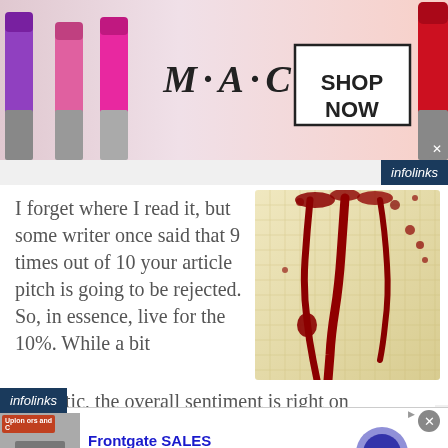[Figure (photo): MAC cosmetics advertisement banner with lipsticks on left, MAC logo in center, SHOP NOW button in box on right, red lipstick on far right]
[Figure (photo): infolinks badge in dark blue top right corner]
[Figure (photo): Blood dripping on aged graph paper / notebook paper, red streaks on yellowed grid paper]
I forget where I read it, but some writer once said that 9 times out of 10 your article pitch is going to be rejected. So, in essence, live for the 10%. While a bit pessimistic, the overall sentiment is right on
[Figure (photo): infolinks badge bottom left]
[Figure (photo): Frontgate SALES advertisement: outdoor furniture image, text '20% off sitewide plus free shipping from August 19-22', frontgate.com, blue arrow button, close X button]